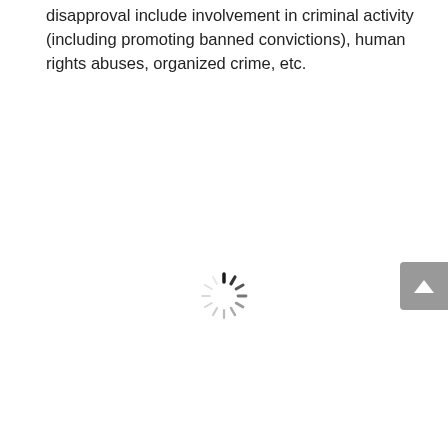disapproval include involvement in criminal activity (including promoting banned convictions), human rights abuses, organized crime, etc.
[Figure (other): A loading spinner icon (circular dashed/radial lines in a spinning loader style), centered on the page, rendered in dark gray/black.]